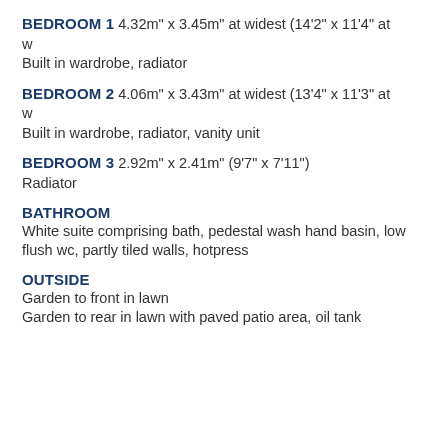BEDROOM 1 4.32m" x 3.45m" at widest (14'2" x 11'4" at w
Built in wardrobe, radiator
BEDROOM 2 4.06m" x 3.43m" at widest (13'4" x 11'3" at w
Built in wardrobe, radiator, vanity unit
BEDROOM 3 2.92m" x 2.41m" (9'7" x 7'11")
Radiator
BATHROOM
White suite comprising bath, pedestal wash hand basin, low flush wc, partly tiled walls, hotpress
OUTSIDE
Garden to front in lawn
Garden to rear in lawn with paved patio area, oil tank